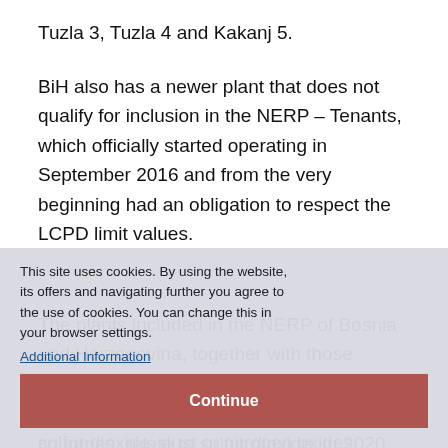Tuzla 3, Tuzla 4 and Kakanj 5.
BiH also has a newer plant that does not qualify for inclusion in the NERP – Tenants, which officially started operating in September 2016 and from the very beginning had an obligation to respect the LCPD limit values.
The plants included in the NERP of Bosnia and Herzegovina, together with those included in Kosovo, are not compliant with the pollution ceilings for any pollutants: sulfur dioxide, dust or nitrogen oxides.
This site uses cookies. By using the website, its offers and navigating further you agree to the use of cookies. You can change this in your browser settings.
Additional Information
Continue
The most serious violations, as in other countries, relate to sulfur dioxide. In 2020, the emission of